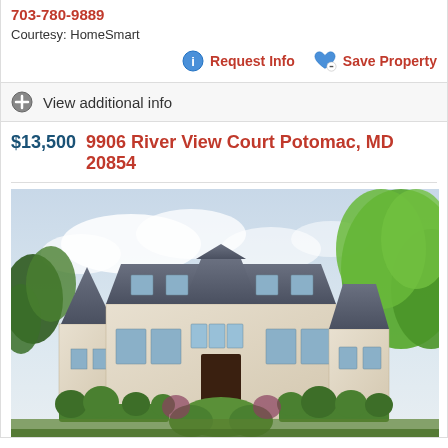703-780-9889
Courtesy: HomeSmart
Request Info
Save Property
View additional info
$13,500   9906 River View Court Potomac, MD 20854
[Figure (photo): Exterior photo of a large French chateau-style luxury home at 9906 River View Court, Potomac MD 20854, with a dark slate roof, stone facade, arched entry, manicured hedges and topiary, and lush green trees in the background under a partly cloudy sky.]